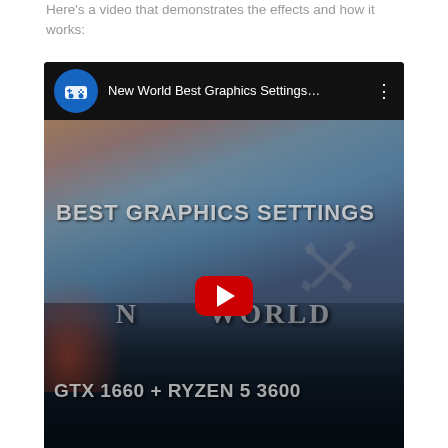Here's a video that demonstrates the effects and how it works:
[Figure (screenshot): YouTube video embed showing a thumbnail for 'New World Best Graphics Settings...' with a gaming controller channel icon, red YouTube play button, overlay text reading 'BEST GRAPHICS SETTINGS' and 'GTX 1660 + RYZEN 5 3600', and a New World game scenic background.]